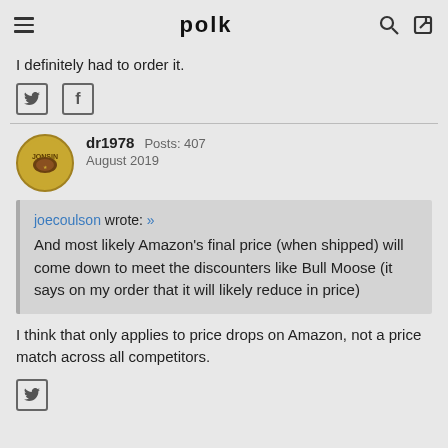polk
I definitely had to order it.
[Figure (screenshot): Social share icons: Twitter bird and Facebook f]
dr1978  Posts: 407  August 2019
joecoulson wrote: » And most likely Amazon's final price (when shipped) will come down to meet the discounters like Bull Moose (it says on my order that it will likely reduce in price)
I think that only applies to price drops on Amazon, not a price match across all competitors.